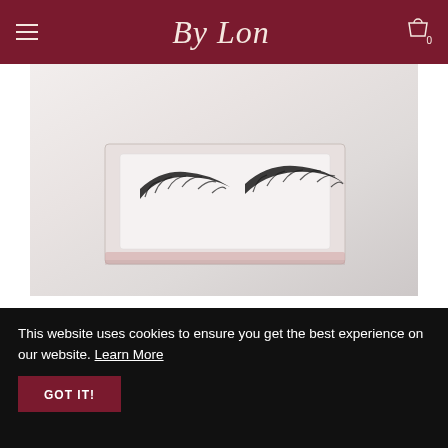By Lon
[Figure (photo): False eyelashes in a white/pink packaging box, product photo on light gray background]
[Figure (other): Two circular action buttons: heart/wishlist icon and shopping bag icon, both in dark rose color]
Pixie
This website uses cookies to ensure you get the best experience on our website. Learn More GOT IT!